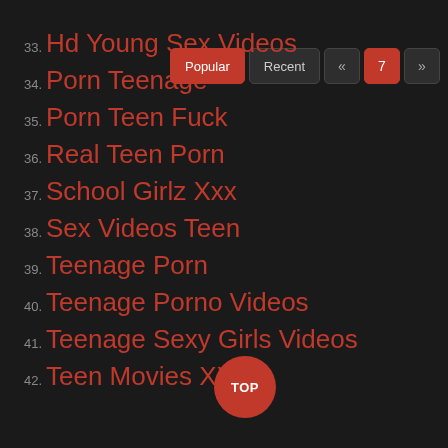33. Hd Young Sex Videos
34. Porn Teenage
35. Porn Teen Fuck
36. Real Teen Porn
37. School Girlz Xxx
38. Sex Videos Teen
39. Teenage Porn
40. Teenage Porno Videos
41. Teenage Sexy Girls Videos
42. Teen Movies XXX